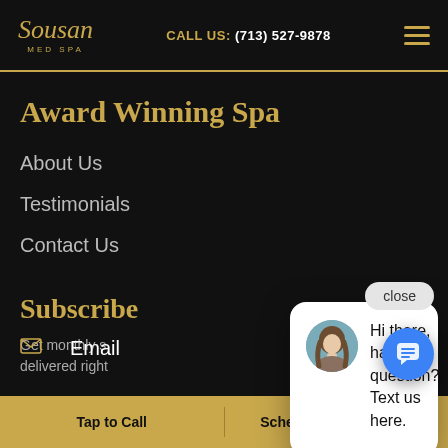Sousan Med Spa | CALL US: (713) 527-9878
Award Winning Spa
About Us
Testimonials
Contact Us
Subscribe
Get monthly s... delivered right...
Email
[Figure (screenshot): Chat popup with avatar photo of a woman with long hair, text: Hi there, have a question? Text us here.]
Tap to Call | Schedule Appointment